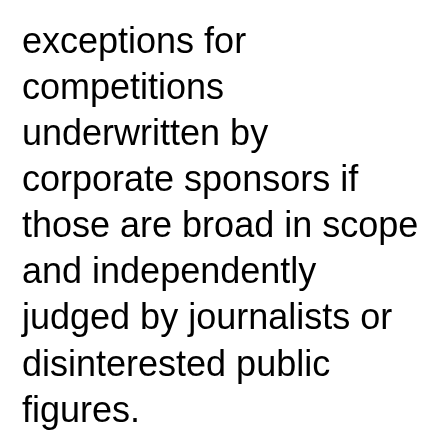exceptions for competitions underwritten by corporate sponsors if those are broad in scope and independently judged by journalists or disinterested public figures.
46. Staff members may compete in competitions sponsored by groups whose members are all journalists or